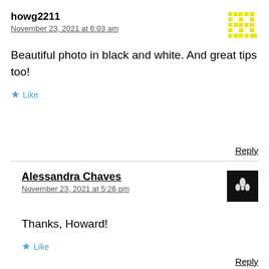howg2211
November 23, 2021 at 6:03 am
[Figure (logo): Yellow pixel art avatar for howg2211]
Beautiful photo in black and white. And great tips too!
★ Like
Reply
Alessandra Chaves
November 23, 2021 at 5:26 pm
[Figure (photo): Black avatar image with white floral illustration for Alessandra Chaves]
Thanks, Howard!
★ Like
Reply